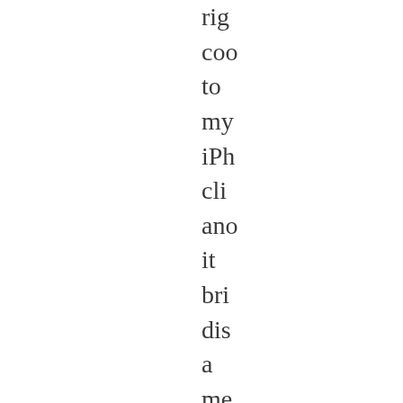rig
coo
to
my
iPh
cli
ano
it
bri
dis
a
me
tha
say
"O
tim
pas
sav
to
th